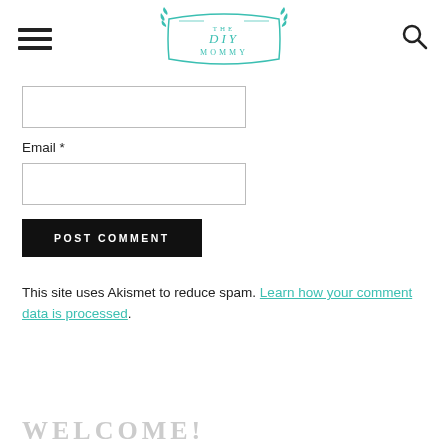THE DIY MOMMY
Email *
[Figure (other): Empty email text input field]
[Figure (other): POST COMMENT button - black rectangle with white uppercase text]
This site uses Akismet to reduce spam. Learn how your comment data is processed.
WELCOME!